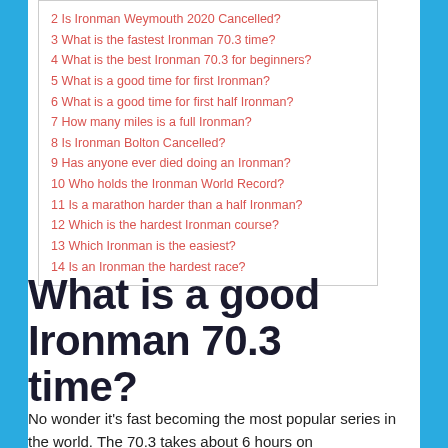2 Is Ironman Weymouth 2020 Cancelled?
3 What is the fastest Ironman 70.3 time?
4 What is the best Ironman 70.3 for beginners?
5 What is a good time for first Ironman?
6 What is a good time for first half Ironman?
7 How many miles is a full Ironman?
8 Is Ironman Bolton Cancelled?
9 Has anyone ever died doing an Ironman?
10 Who holds the Ironman World Record?
11 Is a marathon harder than a half Ironman?
12 Which is the hardest Ironman course?
13 Which Ironman is the easiest?
14 Is an Ironman the hardest race?
What is a good Ironman 70.3 time?
No wonder it's fast becoming the most popular series in the world. The 70.3 takes about 6 hours on